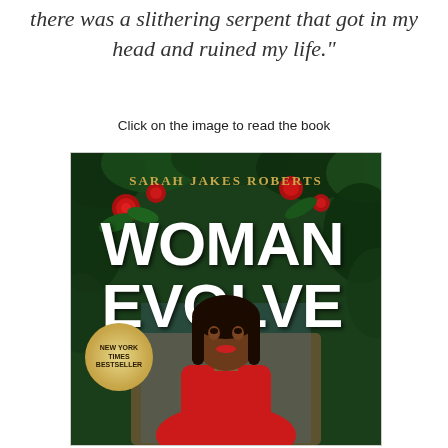there was a slithering serpent that got in my head and ruined my life."
Click on the image to read the book
[Figure (photo): Book cover of 'Woman Evolve' by Sarah Jakes Roberts. Dark green foliage background with red roses. Large white bold text reads 'WOMAN EVOLVE'. Author name 'SARAH JAKES ROBERTS' in gold letters at top. New York Times Bestseller gold badge on the left. A Black woman with a red bob hairstyle wearing red is pictured in the center-bottom.]